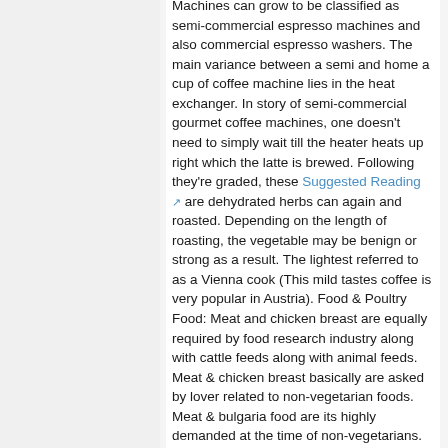Machines can grow to be classified as semi-commercial espresso machines and also commercial espresso washers. The main variance between a semi and home a cup of coffee machine lies in the heat exchanger. In story of semi-commercial gourmet coffee machines, one doesn't need to simply wait till the heater heats up right which the latte is brewed. Following they're graded, these Suggested Reading are dehydrated herbs can again and roasted. Depending on the length of roasting, the vegetable may be benign or strong as a result. The lightest referred to as a Vienna cook (This mild tastes coffee is very popular in Austria). Food & Poultry Food: Meat and chicken breast are equally required by food research industry along with cattle feeds along with animal feeds. Meat & chicken breast basically are asked by lover related to non-vegetarian foods. Meat & bulgaria food are its highly demanded at the time of non-vegetarians. Some coffee makers without hesitation feature automatic maintaining and descaling. Another special